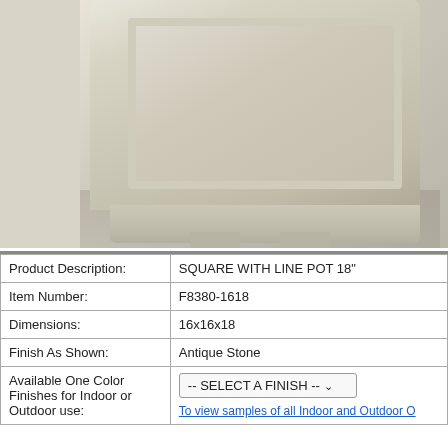[Figure (photo): Close-up photo of a square planter pot with line detail in Antique Stone finish, showing the base and lower panel of the pot.]
| Product Description: | SQUARE WITH LINE POT 18" |
| Item Number: | F8380-1618 |
| Dimensions: | 16x16x18 |
| Finish As Shown: | Antique Stone |
| Available One Color Finishes for Indoor or Outdoor use: | -- SELECT A FINISH --
To view samples of all Indoor and Outdoor O... |